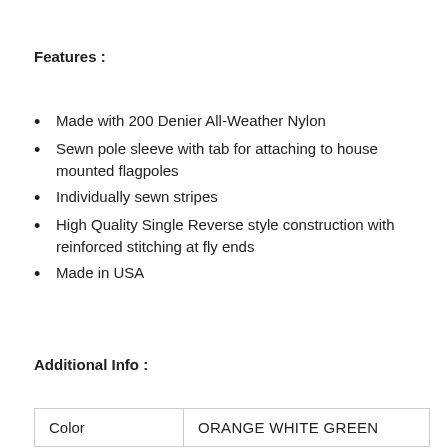Features :
Made with 200 Denier All-Weather Nylon
Sewn pole sleeve with tab for attaching to house mounted flagpoles
Individually sewn stripes
High Quality Single Reverse style construction with reinforced stitching at fly ends
Made in USA
Additional Info :
| Color |  |
| --- | --- |
| Color | ORANGE WHITE GREEN |